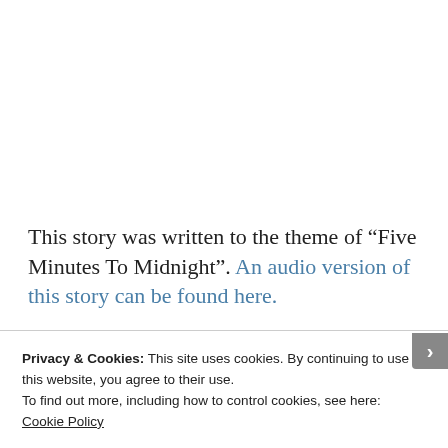This story was written to the theme of “Five Minutes To Midnight”. An audio version of this story can be found here.
Privacy & Cookies: This site uses cookies. By continuing to use this website, you agree to their use.
To find out more, including how to control cookies, see here: Cookie Policy
Close and accept